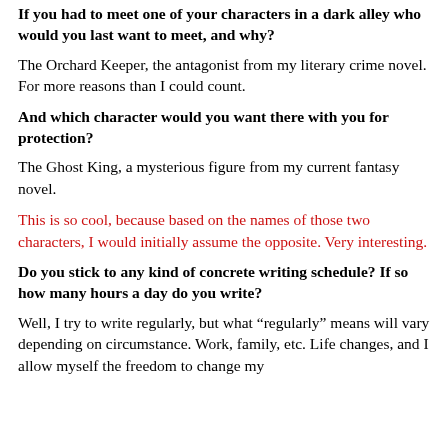If you had to meet one of your characters in a dark alley who would you last want to meet, and why?
The Orchard Keeper, the antagonist from my literary crime novel. For more reasons than I could count.
And which character would you want there with you for protection?
The Ghost King, a mysterious figure from my current fantasy novel.
This is so cool, because based on the names of those two characters, I would initially assume the opposite. Very interesting.
Do you stick to any kind of concrete writing schedule? If so how many hours a day do you write?
Well, I try to write regularly, but what “regularly” means will vary depending on circumstance. Work, family, etc. Life changes, and I allow myself the freedom to change my